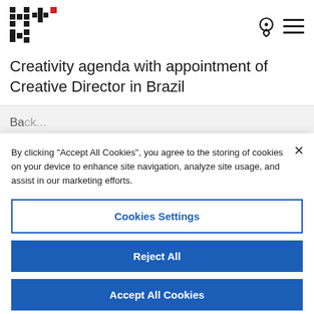[Figure (logo): HH+K agency logo made of black and red pixel squares]
Creativity agenda with appointment of Creative Director in Brazil
Back
By clicking “Accept All Cookies”, you agree to the storing of cookies on your device to enhance site navigation, analyze site usage, and assist in our marketing efforts.
Cookies Settings
Reject All
Accept All Cookies